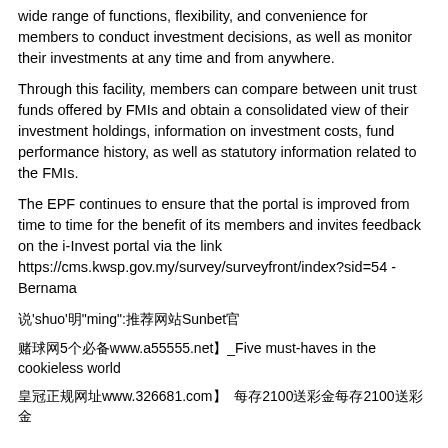wide range of functions, flexibility, and convenience for members to conduct investment decisions, as well as monitor their investments at any time and from anywhere.
Through this facility, members can compare between unit trust funds offered by FMIs and obtain a consolidated view of their investment holdings, information on investment costs, fund performance history, as well as statutory information related to the FMIs.
The EPF continues to ensure that the portal is improved from time to time for the benefit of its members and invites feedback on the i-Invest portal via the link https://cms.kwsp.gov.my/survey/surveyfront/index?sid=54 - Bernama
说'shuo'明"ming":推荐网站Sunbet官
赌球网5个必备www.a55555.net】_Five must-haves in the cookieless world
皇冠正规网址www.326681.com】  每存2100送彩金每存2100送彩金